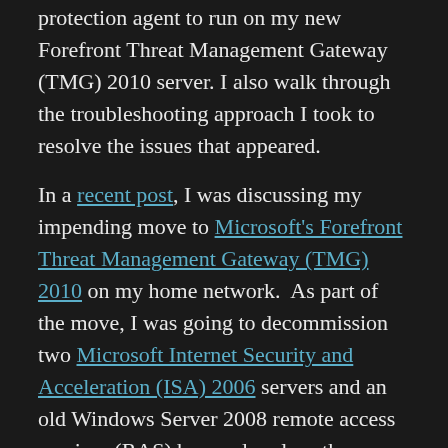protection agent to run on my new Forefront Threat Management Gateway (TMG) 2010 server. I also walk through the troubleshooting approach I took to resolve the issues that appeared.
In a recent post, I was discussing my impending move to Microsoft's Forefront Threat Management Gateway (TMG) 2010 on my home network. As part of the move, I was going to decommission two Microsoft Internet Security and Acceleration (ISA) 2006 servers and an old Windows Server 2008 remote access services (RAS) box and replace them with a single TMG 2010 server – a big savings in terms of server maintenance and power consumption.